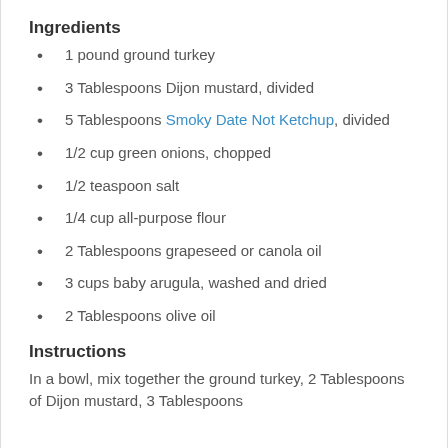Ingredients
1 pound ground turkey
3 Tablespoons Dijon mustard, divided
5 Tablespoons Smoky Date Not Ketchup, divided
1/2 cup green onions, chopped
1/2 teaspoon salt
1/4 cup all-purpose flour
2 Tablespoons grapeseed or canola oil
3 cups baby arugula, washed and dried
2 Tablespoons olive oil
Instructions
In a bowl, mix together the ground turkey, 2 Tablespoons of Dijon mustard, 3 Tablespoons